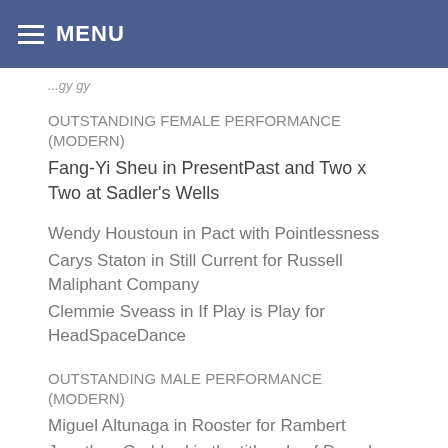MENU
OUTSTANDING FEMALE PERFORMANCE (MODERN)
Fang-Yi Sheu in PresentPast and Two x Two at Sadler's Wells
Wendy Houstoun in Pact with Pointlessness
Carys Staton in Still Current for Russell Maliphant Company
Clemmie Sveass in If Play is Play for HeadSpaceDance
OUTSTANDING MALE PERFORMANCE (MODERN)
Miguel Altunaga in Rooster for Rambert
Jonathan Goddard in the title role of Dracula for